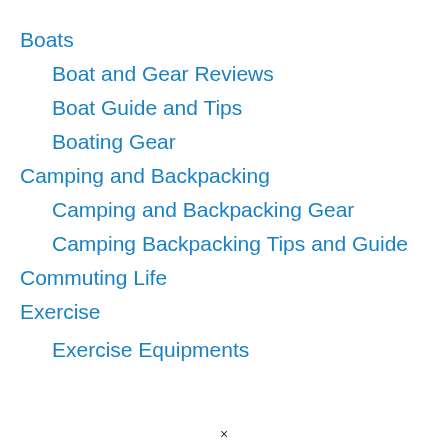Boats
Boat and Gear Reviews
Boat Guide and Tips
Boating Gear
Camping and Backpacking
Camping and Backpacking Gear
Camping Backpacking Tips and Guide
Commuting Life
Exercise
Exercise Equipments